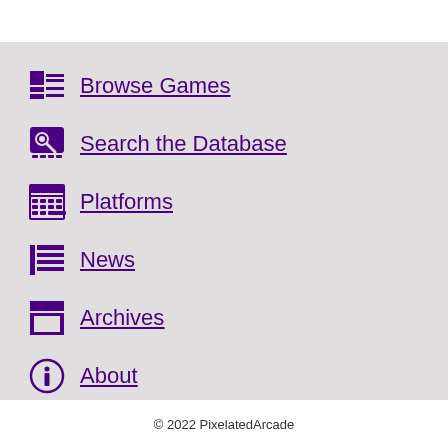Browse Games
Search the Database
Platforms
News
Archives
About
© 2022 PixelatedArcade